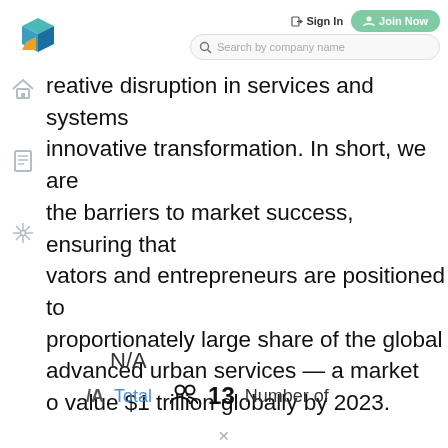[Figure (logo): Colorful 3D cube/box logo with teal, blue, and orange colors]
Sign In   Join Now
[Figure (screenshot): Search bar with text 'Search by company name']
reative disruption in services and systems innovative transformation. In short, we are the barriers to market success, ensuring that vators and entrepreneurs are positioned to proportionately large share of the global advanced urban services — a market o value $1 trillion globally by 2023.
N/A
N/A   Total   13   Number of